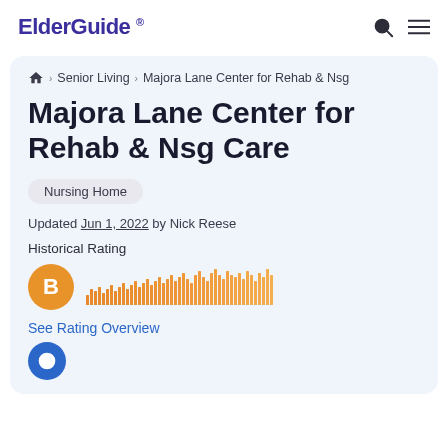ElderGuide ®
🏠 › Senior Living › Majora Lane Center for Rehab & Nsg
Majora Lane Center for Rehab & Nsg Care
Nursing Home
Updated Jun 1, 2022 by Nick Reese
Historical Rating
[Figure (bar-chart): Historical rating bar chart showing orange bars of varying heights representing rating history over time, with a 'B' grade badge]
See Rating Overview